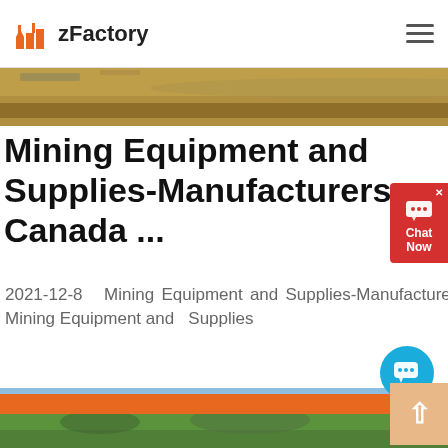zFactory
[Figure (photo): Partial photo of a mining/excavation site showing earth and equipment, cropped at top of page]
Mining Equipment and Supplies-Manufacturers Canada ...
2021-12-8   Mining Equipment and Supplies-Manufacturers.    Manta has 5 businesses under Mining Equipment   and   Supplies
[Figure (photo): Industrial mining equipment facility with conveyors, crusher, and piles of aggregate material under blue sky]
[Figure (photo): Bottom strip showing trees/forest, partially visible]